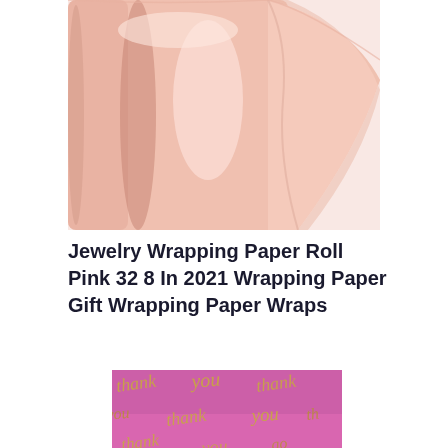[Figure (photo): A roll of pink/rose gold wrapping paper partially unrolled, showing a shiny satin-like surface against a white background.]
Jewelry Wrapping Paper Roll Pink 32 8 In 2021 Wrapping Paper Gift Wrapping Paper Wraps
[Figure (photo): Pink wrapping paper with gold cursive 'thank you' script repeated across the surface.]